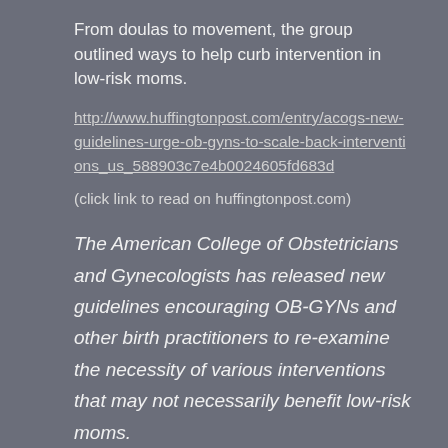From doulas to movement, the group outlined ways to help curb intervention in low-risk moms.
http://www.huffingtonpost.com/entry/acogs-new-guidelines-urge-ob-gyns-to-scale-back-interventions_us_588903c7e4b0024605fd683d
(click link to read on huffingtonpost.com)
The American College of Obstetricians and Gynecologists has released new guidelines encouraging OB-GYNs and other birth practitioners to re-examine the necessity of various interventions that may not necessarily benefit low-risk moms.